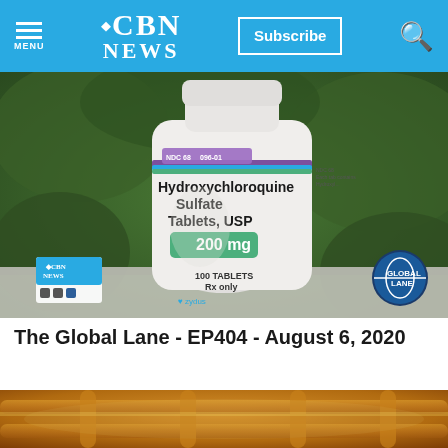CBN NEWS
[Figure (photo): A bottle of Hydroxychloroquine Sulfate Tablets USP 200mg, 100 Tablets, Rx only, by Zydus. The bottle is white with green, blue and purple label markings. Background shows blurred green foliage. CBN News logo and Global Lane logo visible in lower corners.]
The Global Lane - EP404 - August 6, 2020
[Figure (photo): A close-up photo of illuminated copper or gold-colored industrial machinery or pipes, partially visible at the bottom of the page.]